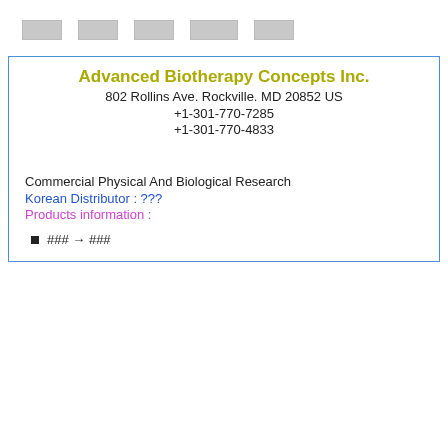□□□□  □□□□  □□□□  □□□□□  □□□□
Advanced Biotherapy Concepts Inc.
802 Rollins Ave. Rockville. MD 20852 US
+1-301-770-7285
+1-301-770-4833
Commercial Physical And Biological Research
Korean Distributor : ???
Products information :
### → ###